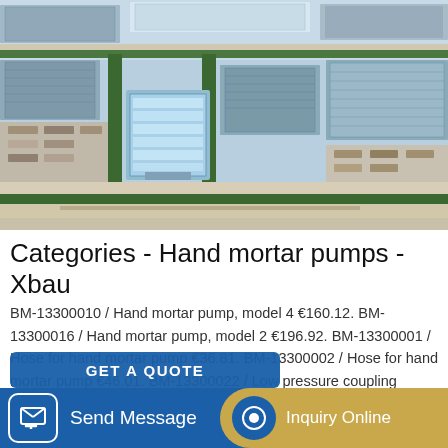[Figure (photo): Aerial view of a large industrial factory complex with multiple large warehouse/factory buildings with blue roofs, a central multi-story office building with glass facade, tree-lined roads, and parking areas.]
Categories - Hand mortar pumps - Xbau
BM-13300010 / Hand mortar pump, model 4 €160.12. BM-13300016 / Hand mortar pump, model 2 €196.92. BM-13300001 / Hose for hand mortar pump €36.81. BM-13300002 / Hose for hand mortar pump €46.01. BM-13300022 / Low pressure coupling €53.37. BM-13300020 / Hand mortar pump, model ...